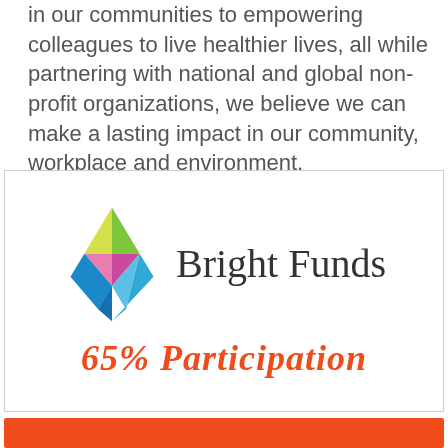in our communities to empowering colleagues to live healthier lives, all while partnering with national and global non-profit organizations, we believe we can make a lasting impact in our community, workplace and environment.
[Figure (logo): Bright Funds logo with a colorful kite/diamond shape on the left and the text 'Bright Funds' on the right, with '65% Participation' in red/orange italic text below]
[Figure (other): Orange/red horizontal bar at the bottom of the page]